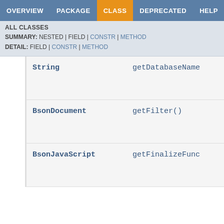OVERVIEW  PACKAGE  CLASS  DEPRECATED  HELP
ALL CLASSES
SUMMARY: NESTED | FIELD | CONSTR | METHOD
DETAIL: FIELD | CONSTR | METHOD
| Type | Method |
| --- | --- |
| String | getDatabaseName |
| BsonDocument | getFilter() |
| BsonJavaScript | getFinalizeFunc |